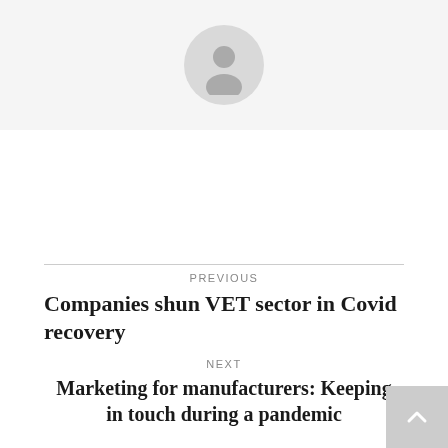[Figure (illustration): User avatar placeholder circle with a generic person silhouette icon on a light grey background]
PREVIOUS
Companies shun VET sector in Covid recovery
NEXT
Marketing for manufacturers: Keeping in touch during a pandemic
Related Posts
Manufacturing news briefs – stories you